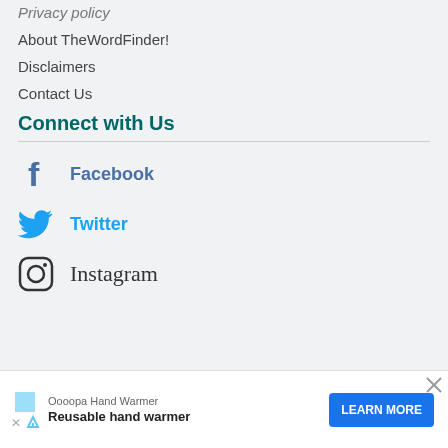Privacy policy
About TheWordFinder!
Disclaimers
Contact Us
Connect with Us
Facebook
Twitter
Instagram
Oooopa Hand Warmer
Reusable hand warmer
LEARN MORE